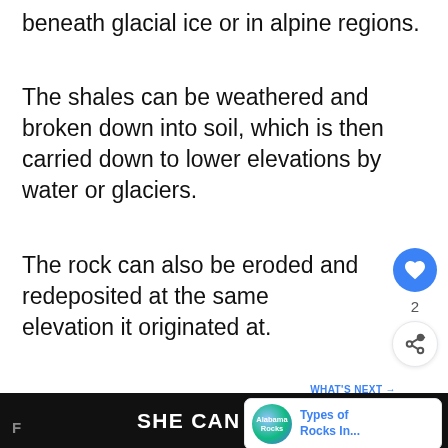beneath glacial ice or in alpine regions.
The shales can be weathered and broken down into soil, which is then carried down to lower elevations by water or glaciers.
The rock can also be eroded and redeposited at the same elevation it originated at.
This allows for shale to form wide at higher elevations in many areas in the
SHE CAN STEM